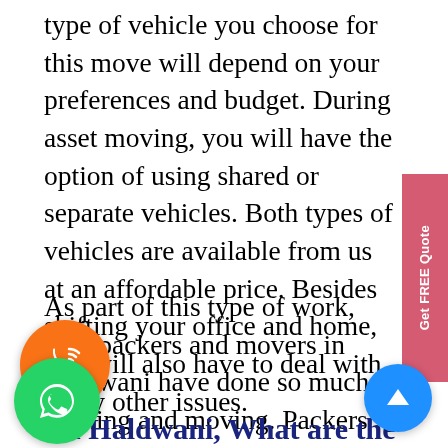type of vehicle you choose for this move will depend on your preferences and budget. During asset moving, you will have the option of using shared or separate vehicles. Both types of vehicles are available from us at an affordable price. Besides shifting your office and home, you will also have to deal with many other issues.
[Figure (other): Pink 'Get FREE Quote' vertical tab button on right side]
As part of this type of work, Gati packers and movers in Haldwani have done so much packing and moving. Packers and movers in Haldwani can help you with shipping and relocation of your home or for your office so that there will be no complications.
[Figure (other): Orange circular phone/call icon button]
[Figure (other): Green circular WhatsApp icon button]
[Figure (other): Blue circular scroll-to-top arrow button]
In Haldwani, What are the